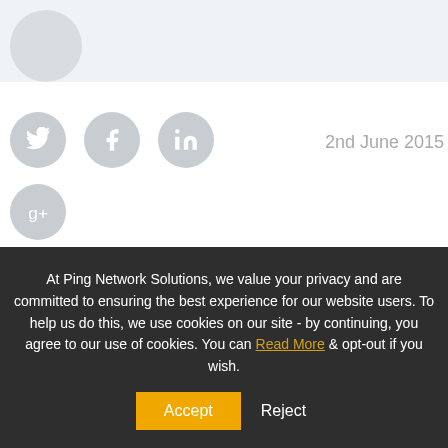[Figure (illustration): Partial avatar/profile circle at top left in light gray area]
[Figure (illustration): Social media icon circles: Twitter, Facebook, LinkedIn (top row), Google+ (bottom row)]
2nd June 2015
At Ping Network Solutions, we value your privacy and are committed to ensuring the best experience for our website users. To help us do this, we use cookies on our site - by continuing, you agree to our use of cookies. You can Read More & opt-out if you wish.